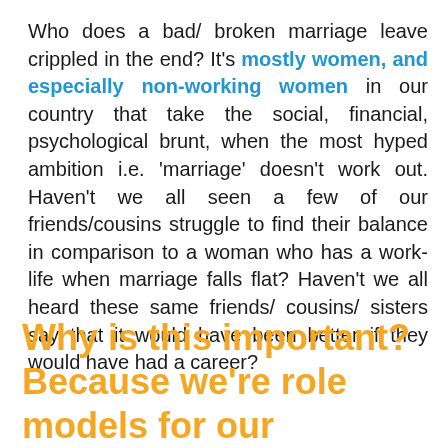Who does a bad/ broken marriage leave crippled in the end? It's mostly women, and especially non-working women in our country that take the social, financial, psychological brunt, when the most hyped ambition i.e. 'marriage' doesn't work out. Haven't we all seen a few of our friends/cousins struggle to find their balance in comparison to a woman who has a work-life when marriage falls flat? Haven't we all heard these same friends/ cousins/ sisters say that it would have been better if they would have had a career?
Why is this important? Because we're role models for our daughters